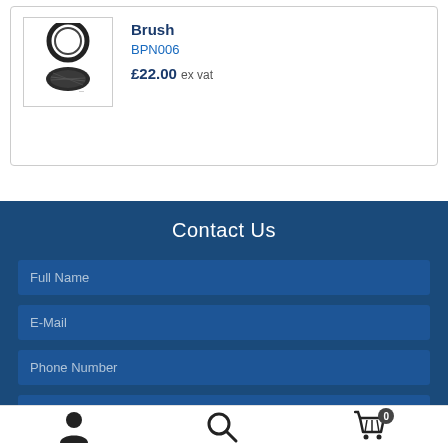[Figure (photo): Product image of a brush shown as a circular/oval shaped black bristle brush with two views]
Brush
BPN006
£22.00 ex vat
Contact Us
Full Name
E-Mail
Phone Number
Your Message...
User icon | Search icon | Cart (0) icon